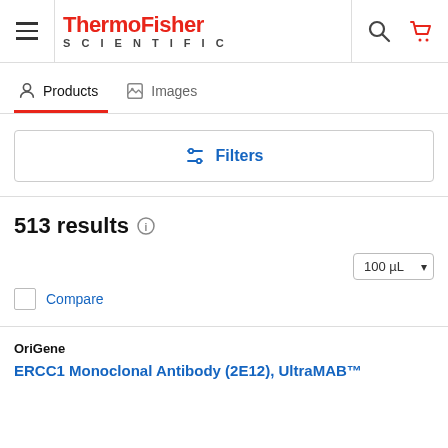ThermoFisher SCIENTIFIC
Products  Images
Filters
513 results
100 µL
Compare
OriGene
ERCC1 Monoclonal Antibody (2E12), UltraMAB™